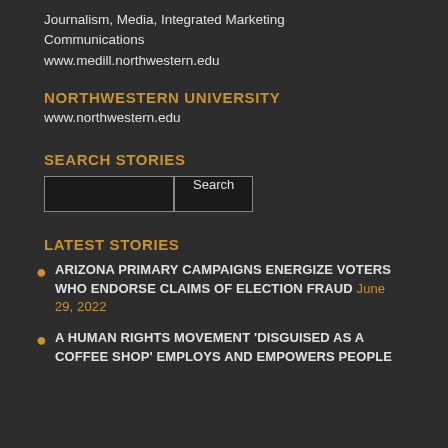Journalism, Media, Integrated Marketing Communications
www.medill.northwestern.edu
NORTHWESTERN UNIVERSITY
www.northwestern.edu
SEARCH STORIES
[Figure (other): Search input box with Search button]
LATEST STORIES
ARIZONA PRIMARY CAMPAIGNS ENERGIZE VOTERS WHO ENDORSE CLAIMS OF ELECTION FRAUD June 29, 2022
A HUMAN RIGHTS MOVEMENT 'DISGUISED AS A COFFEE SHOP' EMPLOYS AND EMPOWERS PEOPLE